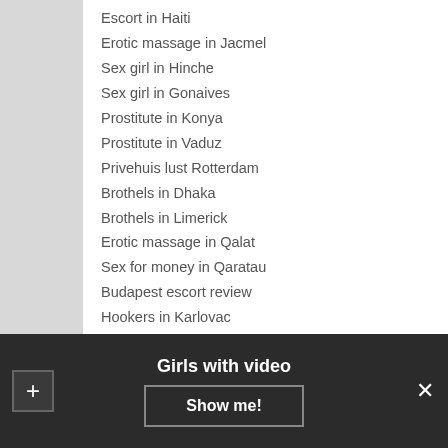Escort in Haiti
Erotic massage in Jacmel
Sex girl in Hinche
Sex girl in Gonaives
Prostitute in Konya
Prostitute in Vaduz
Privehuis lust Rotterdam
Brothels in Dhaka
Brothels in Limerick
Erotic massage in Qalat
Sex for money in Qaratau
Budapest escort review
Hookers in Karlovac
Country
Afghanistan
Girls with video
Show me!